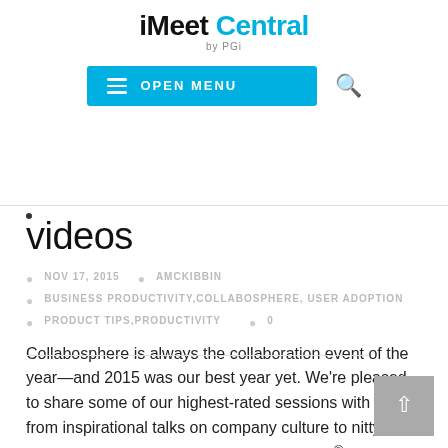iMeet Central by PGi — OPEN MENU
videos
NOV 17, 2015   AMCKIBBIN   BUSINESS PRODUCTIVITY,COLLABOSPHERE, USER ADOPTION   PRODUCT TIPS,PRODUCTIVITY   0
Collabosphere is always the collaboration event of the year—and 2015 was our best year yet. We're pleased to share some of our highest-rated sessions with you, from inspirational talks on company culture to nitty-gritty product advice on getting more out of iMeet® Central.